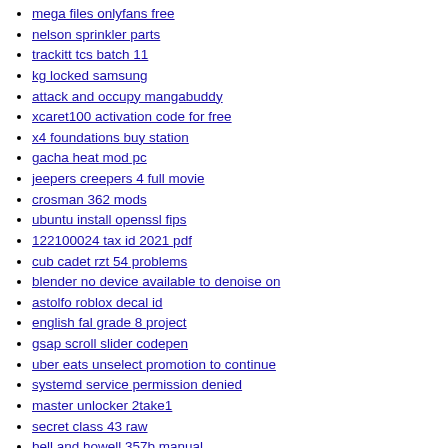mega files onlyfans free
nelson sprinkler parts
trackitt tcs batch 11
kg locked samsung
attack and occupy mangabuddy
xcaret100 activation code for free
x4 foundations buy station
gacha heat mod pc
jeepers creepers 4 full movie
crosman 362 mods
ubuntu install openssl fips
122100024 tax id 2021 pdf
cub cadet rzt 54 problems
blender no device available to denoise on
astolfo roblox decal id
english fal grade 8 project
gsap scroll slider codepen
uber eats unselect promotion to continue
systemd service permission denied
master unlocker 2take1
secret class 43 raw
bell and howell 357b manual
roblox slap battles hack
klayout pcell tutorial
mobil long life coolant for mazak